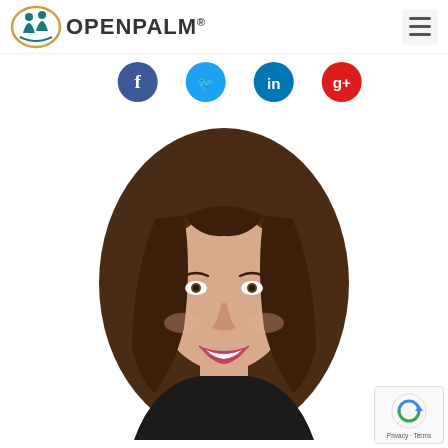OpenPalm® — navigation header with logo and hamburger menu
[Figure (infographic): Row of four social media icons (Facebook - dark blue, Twitter - light blue, LinkedIn - blue, Pinterest/Google - red) partially visible at top, cropped at bottom]
[Figure (photo): Headshot portrait of a smiling woman with long straight brown hair, wearing a black top, white background]
[Figure (logo): reCAPTCHA badge with Privacy and Terms text in bottom-right corner]